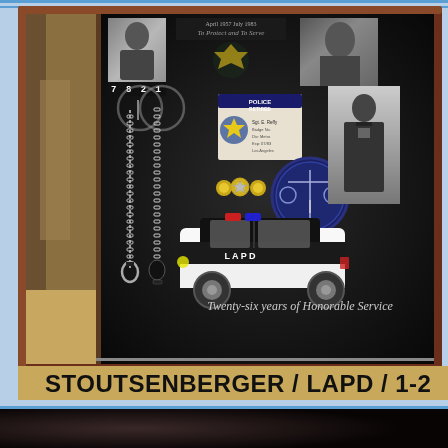[Figure (photo): A framed LAPD police retirement shadow box display containing badges, photos, a police car, handcuffs and chain, medals, a justice medallion, police ID card, mugshot-style photos, and a whistle with chain. The frame is dark wood/mahogany colored. Text inside reads 'Twenty-six years of Honorable Service'. The display is photographed on a beige surface with a room background visible on the left.]
STOUTSENBERGER / LAPD / 1-2
[Figure (photo): Bottom portion of another photo, showing a dark background, partially cropped.]